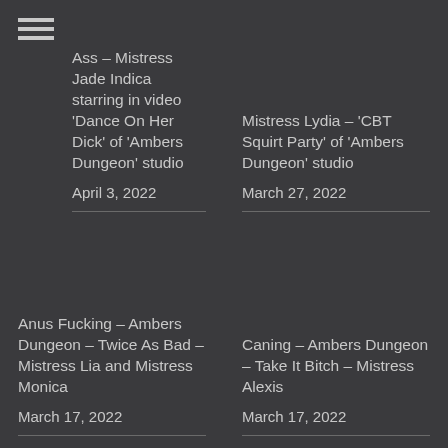Ass – Mistress Jade Indica starring in video ‘Dance On Her Dick’ of ‘Ambers Dungeon’ studio
April 3, 2022
Mistress Lydia – ‘CBT Squirt Party’ of ‘Ambers Dungeon’ studio
March 27, 2022
Anus Fucking – Ambers Dungeon – Twice As Bad – Mistress Lia and Mistress Monica
March 17, 2022
Caning – Ambers Dungeon – Take It Bitch – Mistress Alexis
March 17, 2022